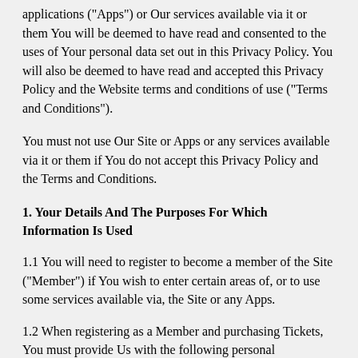applications ("Apps") or Our services available via it or them You will be deemed to have read and consented to the uses of Your personal data set out in this Privacy Policy. You will also be deemed to have read and accepted this Privacy Policy and the Website terms and conditions of use ("Terms and Conditions").
You must not use Our Site or Apps or any services available via it or them if You do not accept this Privacy Policy and the Terms and Conditions.
1. Your Details And The Purposes For Which Information Is Used
1.1 You will need to register to become a member of the Site ("Member") if You wish to enter certain areas of, or to use some services available via, the Site or any Apps.
1.2 When registering as a Member and purchasing Tickets, You must provide Us with the following personal information (among others):